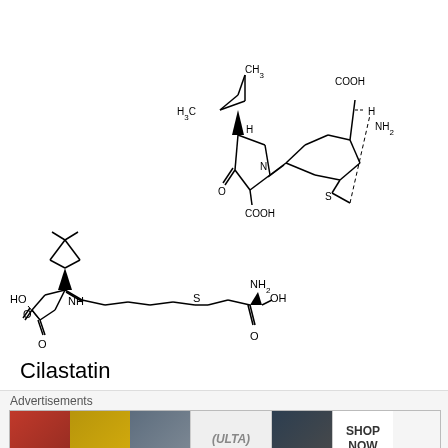[Figure (schematic): Chemical structure of Cilastatin (top view) — bicyclic ring with dimethyl cyclopropane, pyrrolidine-like ring fused to a pyrroline, thioether chain to an amino acid with COOH and NH2 groups. Labels: CH3, H3C, H, N, O, COOH, S, H, NH2, COOH.]
[Figure (schematic): Chemical structure of Cilastatin (bottom view, expanded) — dimethyl cyclopropane attached to a 5-membered lactam ring with HO, O, NH, then alkenyl chain, thioether, and amino acid terminus showing NH2, OH, O. Labels: HO, O, NH, S, NH2, OH, O.]
Cilastatin
Advertisements